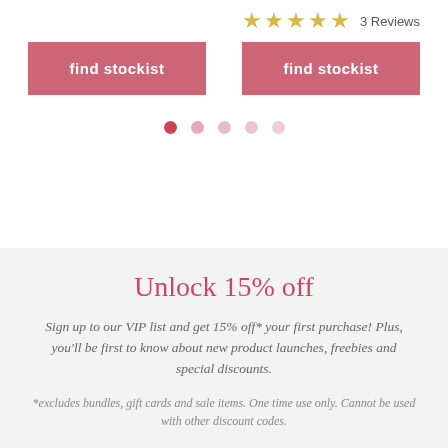[Figure (other): Five gold/yellow star rating icons followed by '3 Reviews' text]
find stockist
find stockist
[Figure (other): Five pagination dots, first (darkest/active) to last (lightest), in a rose/pink color]
Unlock 15% off
Sign up to our VIP list and get 15% off* your first purchase! Plus, you'll be first to know about new product launches, freebies and special discounts.
*excludes bundles, gift cards and sale items. One time use only. Cannot be used with other discount codes.